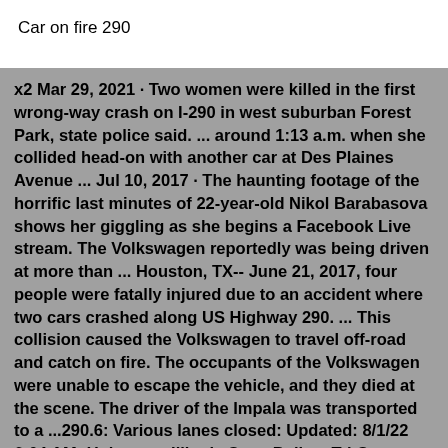Car on fire 290
x2 Mar 29, 2021 · Two women were killed in the first wrong-way crash on I-290 in west suburban Forest Park, state police said. ... around 1:13 a.m. when she collided head-on with another car at Des Plaines Avenue ... Jul 10, 2017 · The haunting footage of the horrific last minutes of 22-year-old Nikol Barabasova shows her giggling as she begins a Facebook Live stream. The Volkswagen reportedly was being driven at more than ... Houston, TX-- June 21, 2017, four people were fatally injured due to an accident where two cars crashed along US Highway 290. ... This collision caused the Volkswagen to travel off-road and catch on fire. The occupants of the Volkswagen were unable to escape the vehicle, and they died at the scene. The driver of the Impala was transported to a ...290.6: Various lanes closed: Updated: 8/1/22 6:04 AM: Unknown: Illinois State Police: Tri-State SB/EB